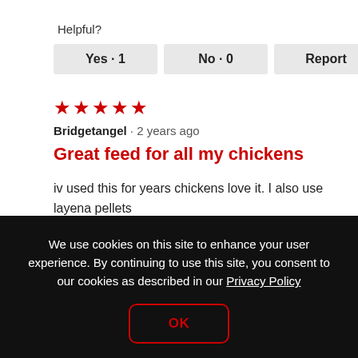Helpful?
Yes · 1   No · 0   Report
[Figure (other): Five red stars rating]
Bridgetangel · 2 years ago
Great feed for all my chickens
iv used this for years chickens love it. I also use layena pellets
We use cookies on this site to enhance your user experience. By continuing to use this site, you consent to our cookies as described in our Privacy Policy
OK